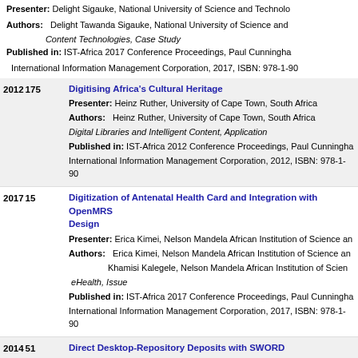Presenter: Delight Sigauke, National University of Science and Technology
Authors: Delight Tawanda Sigauke, National University of Science and
Content Technologies, Case Study
Published in: IST-Africa 2017 Conference Proceedings, Paul Cunningha
International Information Management Corporation, 2017, ISBN: 978-1-90
Digitising Africa's Cultural Heritage
Presenter: Heinz Ruther, University of Cape Town, South Africa
Authors: Heinz Ruther, University of Cape Town, South Africa
Digital Libraries and Intelligent Content, Application
Published in: IST-Africa 2012 Conference Proceedings, Paul Cunningha
International Information Management Corporation, 2012, ISBN: 978-1-90
Digitization of Antenatal Health Card and Integration with OpenMRS Design
Presenter: Erica Kimei, Nelson Mandela African Institution of Science an
Authors: Erica Kimei, Nelson Mandela African Institution of Science an Khamisi Kalegele, Nelson Mandela African Institution of Scien
eHealth, Issue
Published in: IST-Africa 2017 Conference Proceedings, Paul Cunningha
International Information Management Corporation, 2017, ISBN: 978-1-90
Direct Desktop-Repository Deposits with SWORD
Presenter: Gontlafetse Mosweunyane, University of Botswana, Botswan